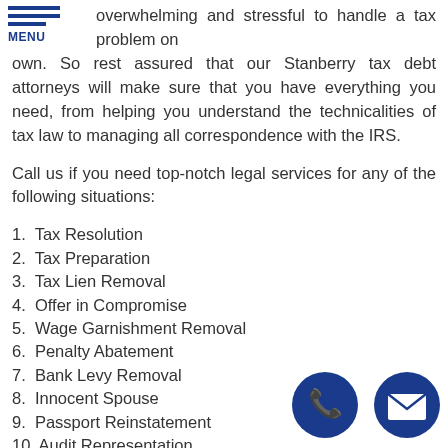MENU
overwhelming and stressful to handle a tax problem on your own. So rest assured that our Stanberry tax debt attorneys will make sure that you have everything you need, from helping you understand the technicalities of tax law to managing all correspondence with the IRS.
Call us if you need top-notch legal services for any of the following situations:
1. Tax Resolution
2. Tax Preparation
3. Tax Lien Removal
4. Offer in Compromise
5. Wage Garnishment Removal
6. Penalty Abatement
7. Bank Levy Removal
8. Innocent Spouse
9. Passport Reinstatement
10. Audit Representation
No matter what tax debt issue you have regardless of its complexity, Defense Tax Partners assures you we